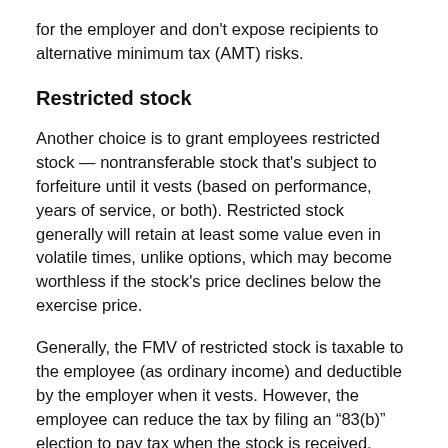for the employer and don't expose recipients to alternative minimum tax (AMT) risks.
Restricted stock
Another choice is to grant employees restricted stock — nontransferable stock that's subject to forfeiture until it vests (based on performance, years of service, or both). Restricted stock generally will retain at least some value even in volatile times, unlike options, which may become worthless if the stock's price declines below the exercise price.
Generally, the FMV of restricted stock is taxable to the employee (as ordinary income) and deductible by the employer when it vests. However, the employee can reduce the tax by filing an “83(b)” election to pay tax when the stock is received, converting all future